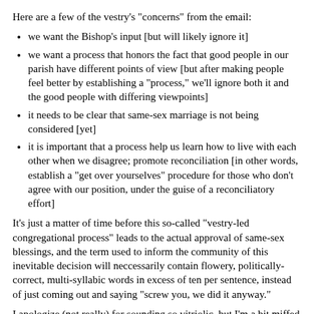Here are a few of the vestry's "concerns" from the email:
we want the Bishop's input [but will likely ignore it]
we want a process that honors the fact that good people in our parish have different points of view [but after making people feel better by establishing a "process," we'll ignore both it and the good people with differing viewpoints]
it needs to be clear that same-sex marriage is not being considered [yet]
it is important that a process help us learn how to live with each other when we disagree; promote reconciliation [in other words, establish a "get over yourselves" procedure for those who don't agree with our position, under the guise of a reconciliatory effort]
It's just a matter of time before this so-called "vestry-led congregational process" leads to the actual approval of same-sex blessings, and the term used to inform the community of this inevitable decision will neccessarily contain flowery, politically-correct, multi-syllabic words in excess of ten per sentence, instead of just coming out and saying "screw you, we did it anyway."
I apologize (not really) for sounding so vitriolic, but I'm a bit miffed at St. Paul's right now. Its Rector, Lowell Grisham, recently sent an email to Fr. Leo asking our church to stop calling itself